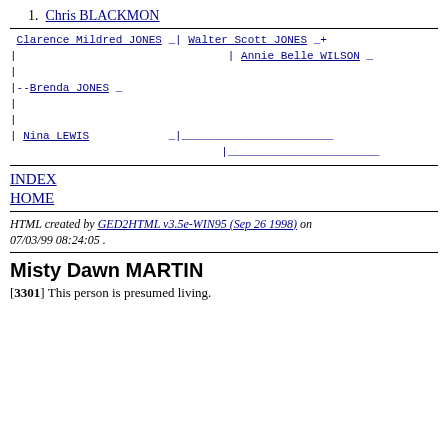1. Chris BLACKMON
[Figure (other): Genealogy family tree diagram showing: Clarence Mildred JONES connected to Walter Scott JONES + and Annie Belle WILSON at top right; Brenda JONES branching below; Nina LEWIS at bottom left with blank lines at right]
INDEX
HOME
HTML created by GED2HTML v3.5e-WIN95 (Sep 26 1998) on 07/03/99 08:24:05 .
Misty Dawn MARTIN
[3301] This person is presumed living.